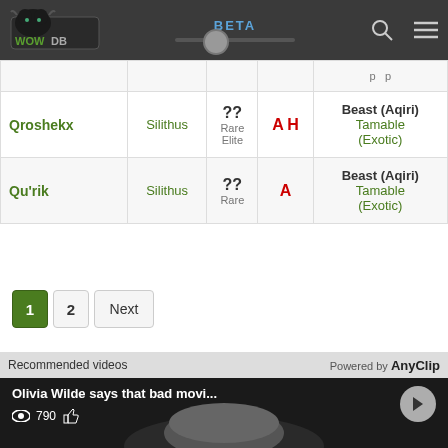WOWDB BETA
| Name | Zone | Level | Faction | Type |
| --- | --- | --- | --- | --- |
| Qroshekx | Silithus | ?? Rare Elite | A H | Beast (Aqiri) Tamable (Exotic) |
| Qu'rik | Silithus | ?? Rare | A | Beast (Aqiri) Tamable (Exotic) |
1 2 Next
Recommended videos — Powered by AnyClip
Olivia Wilde says that bad movi... 790